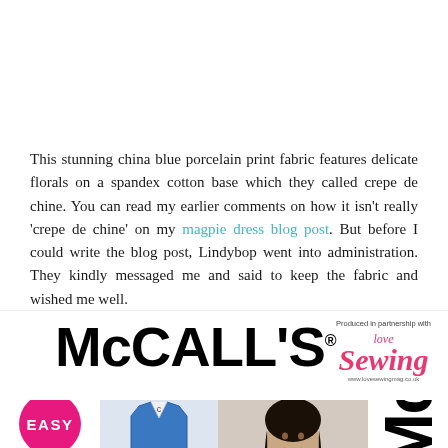This stunning china blue porcelain print fabric features delicate florals on a spandex cotton base which they called crepe de chine. You can read my earlier comments on how it isn't really 'crepe de chine' on my magpie dress blog post. But before I could write the blog post, Lindybop went into administration. They kindly messaged me and said to keep the fabric and wished me well.
[Figure (logo): McCALL'S magazine logo with 'Produced in partnership with Love Sewing' badge and website www.lovesewingmag.co.uk, plus bottom strip showing EASY badge, blue vest garment on hanger, model photo, and partial Mc text]